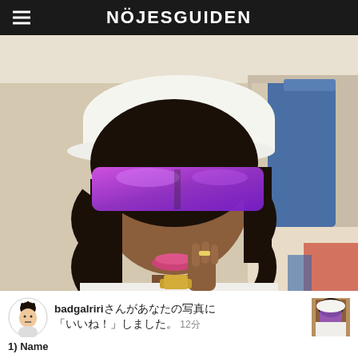NÖJESGUIDEN
[Figure (photo): A woman sitting on a train wearing a white cap with text, large purple/pink mirrored wraparound sunglasses, white graphic t-shirt, and gold watch, posing with hand near chin. Blue train seats visible in background.]
badgalririさんがあなたの写真に「いいね！」しました。 12分
1) Name